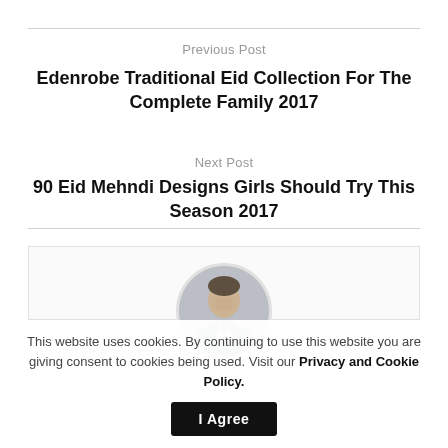Previous Post
Edenrobe Traditional Eid Collection For The Complete Family 2017
Next Post
90 Eid Mehndi Designs Girls Should Try This Season 2017
[Figure (photo): Circular cropped photo of a man wearing a dark navy suit with a striped tie and pink pocket square]
This website uses cookies. By continuing to use this website you are giving consent to cookies being used. Visit our Privacy and Cookie Policy.